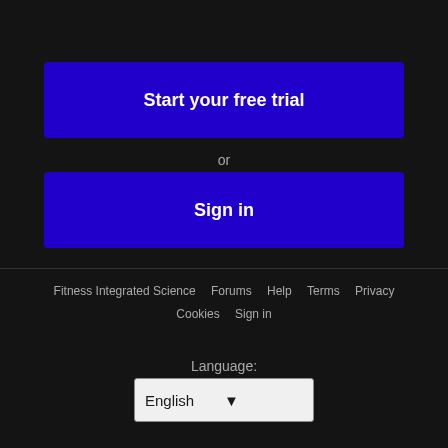Start your free trial
or
Sign in
Fitness Integrated Science   Forums   Help   Terms   Privacy   Cookies   Sign in
Language:
English